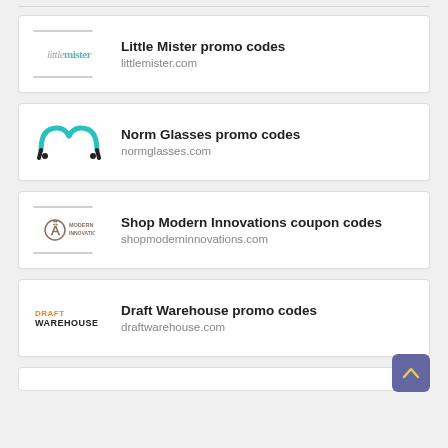Little Mister promo codes - littlemister.com
Norm Glasses promo codes - normglasses.com
Shop Modern Innovations coupon codes - shopmoderninnovations.com
Draft Warehouse promo codes - draftwarehouse.com